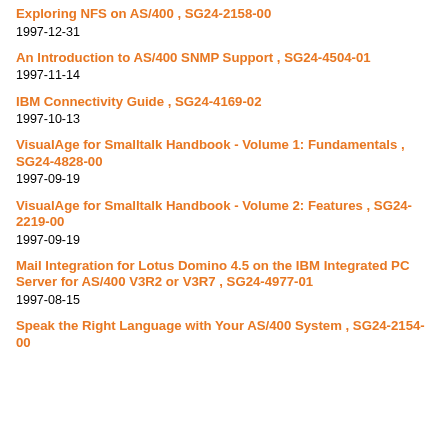Exploring NFS on AS/400 , SG24-2158-00
1997-12-31
An Introduction to AS/400 SNMP Support , SG24-4504-01
1997-11-14
IBM Connectivity Guide , SG24-4169-02
1997-10-13
VisualAge for Smalltalk Handbook - Volume 1: Fundamentals , SG24-4828-00
1997-09-19
VisualAge for Smalltalk Handbook - Volume 2: Features , SG24-2219-00
1997-09-19
Mail Integration for Lotus Domino 4.5 on the IBM Integrated PC Server for AS/400 V3R2 or V3R7 , SG24-4977-01
1997-08-15
Speak the Right Language with Your AS/400 System , SG24-2154-00